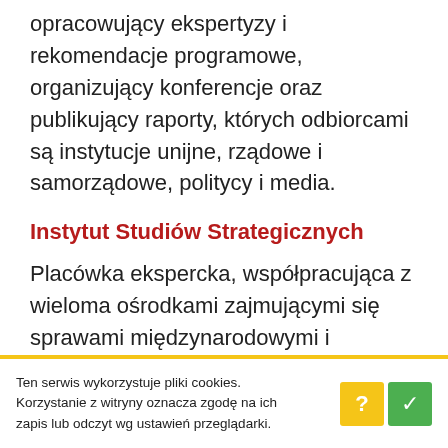opracowujący ekspertyzy i rekomendacje programowe, organizujący konferencje oraz publikujący raporty, których odbiorcami są instytucje unijne, rządowe i samorządowe, politycy i media.
Instytut Studiów Strategicznych
Placówka ekspercka, współpracująca z wieloma ośrodkami zajmującymi się sprawami międzynarodowymi i zagadnieniami bezpieczeństwa w
Ten serwis wykorzystuje pliki cookies. Korzystanie z witryny oznacza zgodę na ich zapis lub odczyt wg ustawień przeglądarki.